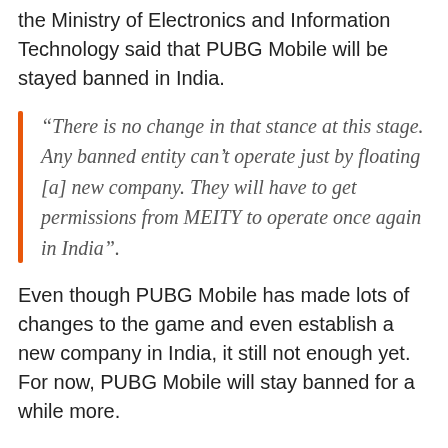the Ministry of Electronics and Information Technology said that PUBG Mobile will be stayed banned in India.
“There is no change in that stance at this stage. Any banned entity can’t operate just by floating [a] new company. They will have to get permissions from MEITY to operate once again in India”.
Even though PUBG Mobile has made lots of changes to the game and even establish a new company in India, it still not enough yet. For now, PUBG Mobile will stay banned for a while more.
But PUBG Mobile wouldn’t want to hype to cool down because it takes too long to return the game to India. Still, it is not likely that PUBG Mobile will be able to be released